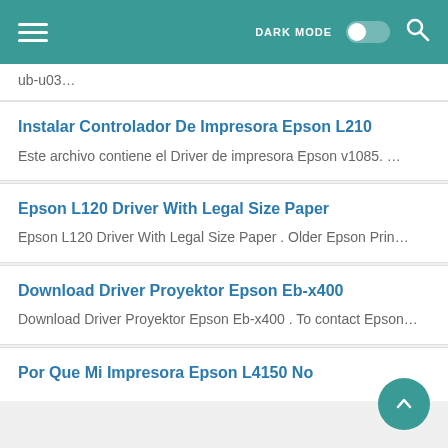DARK MODE [toggle] [search]
ub-u03…
Instalar Controlador De Impresora Epson L210
Este archivo contiene el Driver de impresora Epson v1085. …
Epson L120 Driver With Legal Size Paper
Epson L120 Driver With Legal Size Paper . Older Epson Prin…
Download Driver Proyektor Epson Eb-x400
Download Driver Proyektor Epson Eb-x400 . To contact Epson…
Por Que Mi Impresora Epson L4150 No